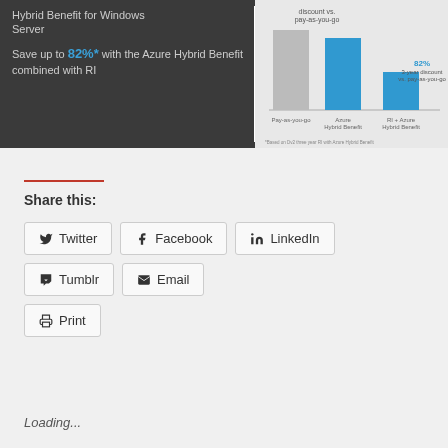[Figure (screenshot): Azure Hybrid Benefit for Windows Server promotional image showing a bar chart. Text: 'Hybrid Benefit for Windows Server. Save up to 82%* with the Azure Hybrid Benefit combined with RI'. Bar chart shows Pay-as-you-go, Azure Hybrid Benefit, and RI + Azure Hybrid Benefit pricing comparison. '82% 3-year discount vs. pay-as-you-go' label shown. Footnote: '*Based on Dv2 three year RI with Azure Hybrid Benefit'.]
Share this:
Twitter
Facebook
LinkedIn
Tumblr
Email
Print
Loading...